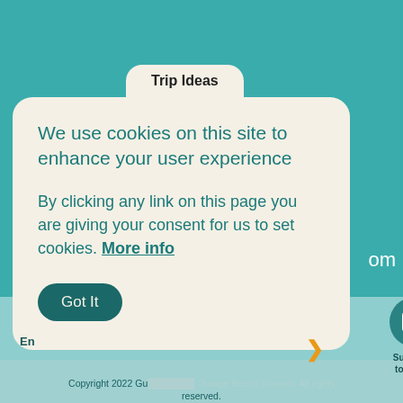[Figure (screenshot): Navigation tab labeled 'Trip Ideas' on a teal website background]
We use cookies on this site to enhance your user experience
By clicking any link on this page you are giving your consent for us to set cookies. More info
Got It
.om
En
[Figure (infographic): Three circular teal icon buttons: Subscribe to Enews (envelope icon), Vacation Guide (book icon), Chat With Us (speech bubble icon)]
Copyright 2022 Gu... Orange Beach Tourism. All rights reserved.